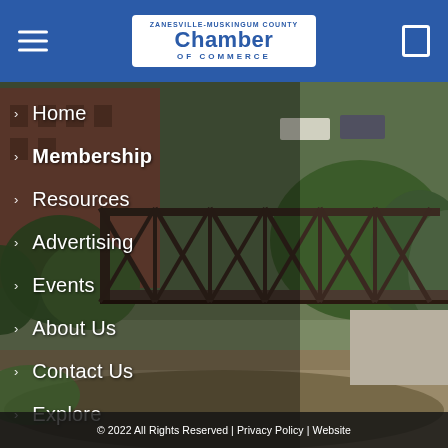[Figure (photo): Aerial/elevated view of a historic iron truss bridge over a river with green trees and brick buildings in the background, Zanesville-Muskingum County area]
Zanesville-Muskingum County Chamber of Commerce
Home
Membership
Resources
Advertising
Events
About Us
Contact Us
Explore
© 2022 All Rights Reserved | Privacy Policy | Website